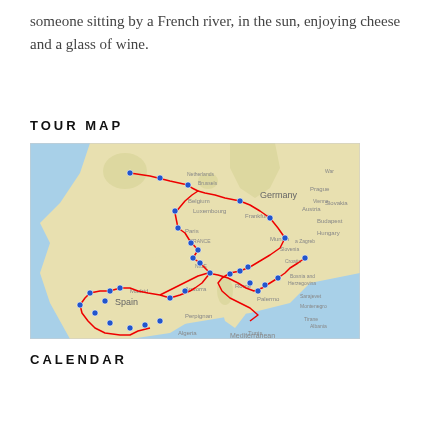someone sitting by a French river, in the sun, enjoying cheese and a glass of wine.
TOUR MAP
[Figure (map): A map of Europe showing a tour route drawn in red lines, passing through countries including France, Spain, Germany, Italy, Croatia, and others. Multiple blue map pins mark stops along the route. The route goes through countries visible on the map including Spain, France, Germany, Austria, and the Mediterranean coast.]
CALENDAR